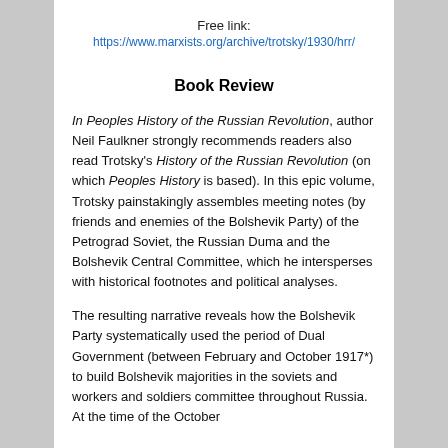Free link:
https://www.marxists.org/archive/trotsky/1930/hrr/
Book Review
In Peoples History of the Russian Revolution, author Neil Faulkner strongly recommends readers also read Trotsky's History of the Russian Revolution (on which Peoples History is based). In this epic volume, Trotsky painstakingly assembles meeting notes (by friends and enemies of the Bolshevik Party) of the Petrograd Soviet, the Russian Duma and the Bolshevik Central Committee, which he intersperses with historical footnotes and political analyses.
The resulting narrative reveals how the Bolshevik Party systematically used the period of Dual Government (between February and October 1917*) to build Bolshevik majorities in the soviets and workers and soldiers committee throughout Russia. At the time of the October